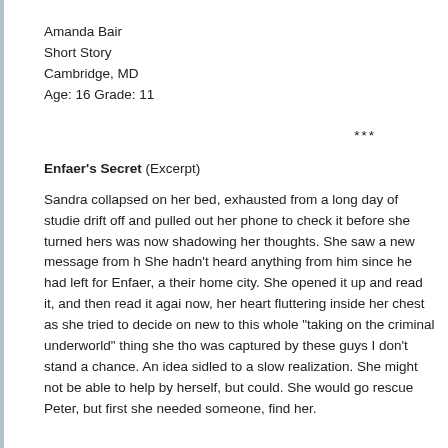Amanda Bair
Short Story
Cambridge, MD
Age: 16 Grade: 11
***
Enfaer's Secret (Excerpt)
Sandra collapsed on her bed, exhausted from a long day of studie drift off and pulled out her phone to check it before she turned hers was now shadowing her thoughts. She saw a new message from h She hadn't heard anything from him since he had left for Enfaer, a their home city. She opened it up and read it, and then read it agai now, her heart fluttering inside her chest as she tried to decide on new to this whole "taking on the criminal underworld" thing she tho was captured by these guys I don't stand a chance. An idea sidled to a slow realization. She might not be able to help by herself, but could. She would go rescue Peter, but first she needed someone, find her.